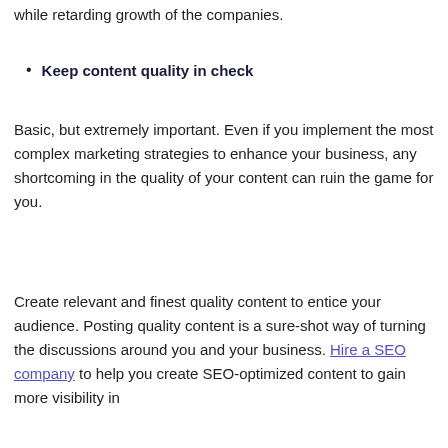while retarding growth of the companies.
Keep content quality in check
Basic, but extremely important. Even if you implement the most complex marketing strategies to enhance your business, any shortcoming in the quality of your content can ruin the game for you.
Create relevant and finest quality content to entice your audience. Posting quality content is a sure-shot way of turning the discussions around you and your business. Hire a SEO company to help you create SEO-optimized content to gain more visibility in